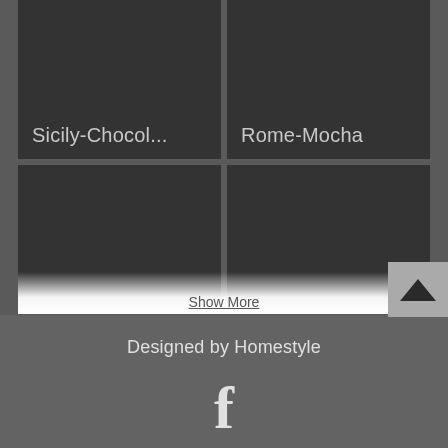[Figure (screenshot): A 2x2 grid of dark tiles showing product/color swatches. Top-left: Sicily-Chocol... Top-right: Rome-Mocha. Bottom-left: Velvet-Latte. Bottom-right: Padstow-Blue.]
Show More
Designed by Homestyle
[Figure (logo): Facebook 'f' logo icon in light grey]